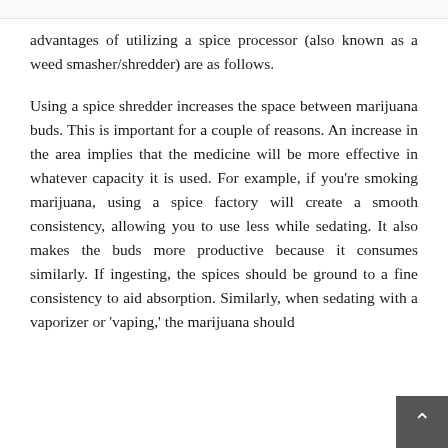advantages of utilizing a spice processor (also known as a weed smasher/shredder) are as follows.
Using a spice shredder increases the space between marijuana buds. This is important for a couple of reasons. An increase in the area implies that the medicine will be more effective in whatever capacity it is used. For example, if you’re smoking marijuana, using a spice factory will create a smooth consistency, allowing you to use less while sedating. It also makes the buds more productive because it consumes similarly. If ingesting, the spices should be ground to a fine consistency to aid absorption. Similarly, when sedating with a vaporizer or ‘vaping,’ the marijuana should